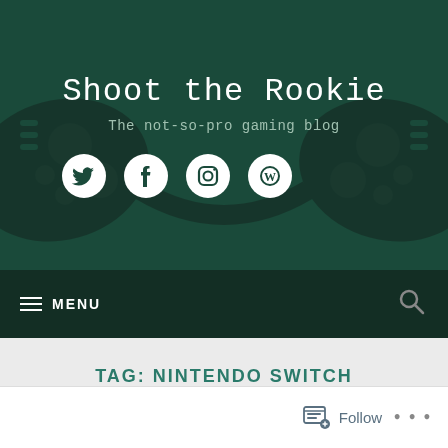Shoot the Rookie
The not-so-pro gaming blog
[Figure (illustration): Four social media icons in white circles: Twitter bird, Facebook f, Instagram camera, WordPress W logo]
MENU
TAG: NINTENDO SWITCH
Follow ...